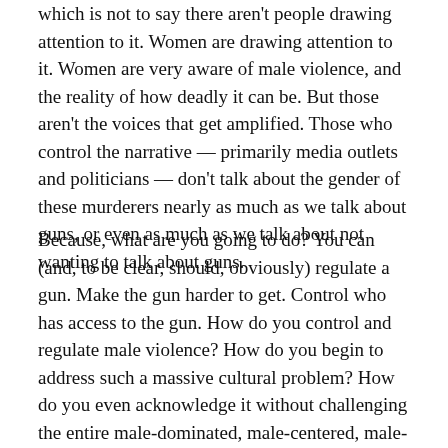which is not to say there aren't people drawing attention to it. Women are drawing attention to it. Women are very aware of male violence, and the reality of how deadly it can be. But those aren't the voices that get amplified. Those who control the narrative — primarily media outlets and politicians — don't talk about the gender of these murderers nearly as much as we talk about guns, or even as much as we talk about not wanting to talk about guns.
Because, what are you going to do? You can (and, to be clear, should, obviously) regulate a gun. Make the gun harder to get. Control who has access to the gun. How do you control and regulate male violence? How do you begin to address such a massive cultural problem? How do you even acknowledge it without challenging the entire male-dominated, male-centered, male-run world of government, religion, sports, entertainment, and business? Gun control, an apparent political impossibility in the United States, seems easy by comparison.